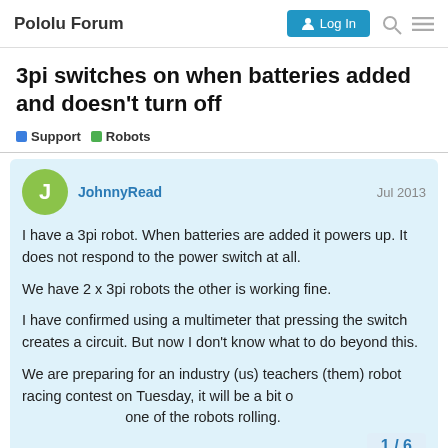Pololu Forum  Log In
3pi switches on when batteries added and doesn't turn off
Support  Robots
JohnnyRead  Jul 2013
I have a 3pi robot. When batteries are added it powers up. It does not respond to the power switch at all.

We have 2 x 3pi robots the other is working fine.

I have confirmed using a multimeter that pressing the switch creates a circuit. But now I don't know what to do beyond this.

We are preparing for an industry (us) teachers (them) robot racing contest on Tuesday, it will be a bit o one of the robots rolling.
1 / 6